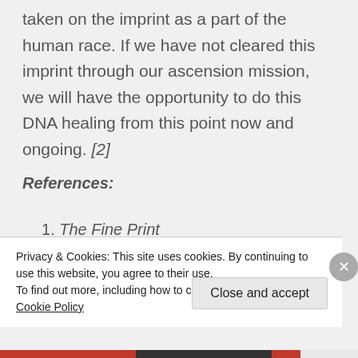taken on the imprint as a part of the human race. If we have not cleared this imprint through our ascension mission, we will have the opportunity to do this DNA healing from this point now and ongoing. [2]
References:
1. The Fine Print
Privacy & Cookies: This site uses cookies. By continuing to use this website, you agree to their use.
To find out more, including how to control cookies, see here: Cookie Policy